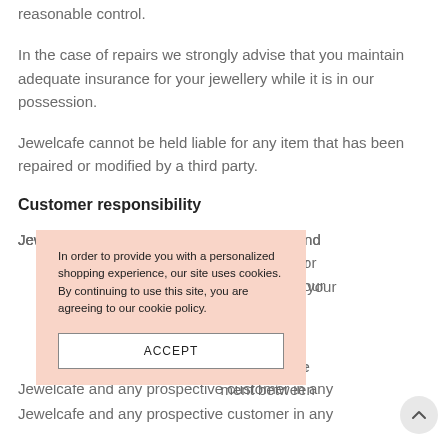reasonable control.
In the case of repairs we strongly advise that you maintain adequate insurance for your jewellery while it is in our possession.
Jewelcafe cannot be held liable for any item that has been repaired or modified by a third party.
Customer responsibility
Jewelcafe cannot guarantee that the sale and [...]ular country or [...] be aware of your [...]s.
[Figure (other): Cookie consent popup overlay with salmon/peach background containing text: 'In order to provide you with a personalized shopping experience, our site uses cookies. By continuing to use this site, you are agreeing to our cookie policy.' and an ACCEPT button.]
[...]constitute the [...] ment between Jewelcafe and any prospective customer in any